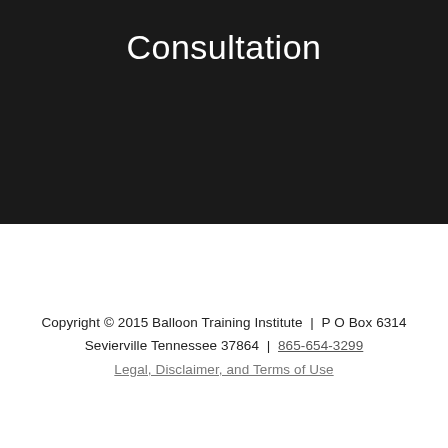Consultation
Copyright © 2015 Balloon Training Institute | P O Box 6314 Sevierville Tennessee 37864 | 865-654-3299
Legal, Disclaimer, and Terms of Use